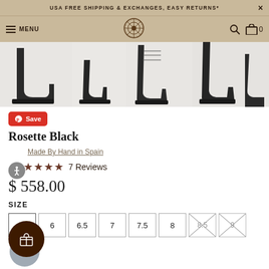USA FREE SHIPPING & EXCHANGES, EASY RETURNS*
[Figure (screenshot): Navigation bar with hamburger menu (MENU), brand logo (rosette/mandala), search icon, and cart icon with 0 items]
[Figure (photo): Multiple views of Rosette Black leather boots against white background]
[Figure (logo): Pinterest Save button (red)]
Rosette Black
Made By Hand in Spain
★★★★★ 7 Reviews
$ 558.00
SIZE
6
6.5
7
7.5
8
8.5 (unavailable)
9 (unavailable)
10
11